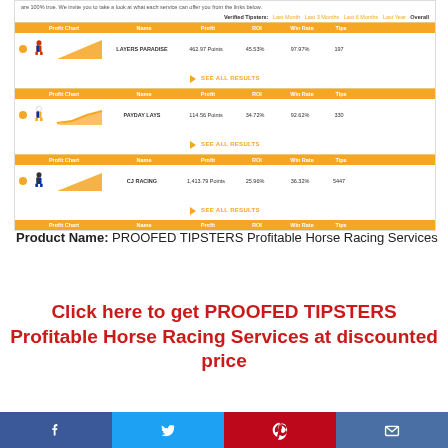[Figure (screenshot): Screenshot of a verified tipsters leaderboard website showing three tipster entries: LAYERS PARADISE (462.97 Points, 45.53% ROI, 97.97% Win Rate, 197 Tips), PAYDAY LAYS (114.56 Points, 34.72% ROI, 92.62% Win Rate, 330 Tips), and CJ RACING (1,413.79 Points, 25.96% ROI, 36.32% Win Rate, 5447 Tips), each with profit charts, icons, and SEE ALL RESULTS links. Orange and white color scheme.]
Product Name: PROOFED TIPSTERS Profitable Horse Racing Services
Click here to get PROOFED TIPSTERS Profitable Horse Racing Services at discounted price
[Figure (other): Social media share bar with Facebook, Twitter, Pinterest, and email icons]